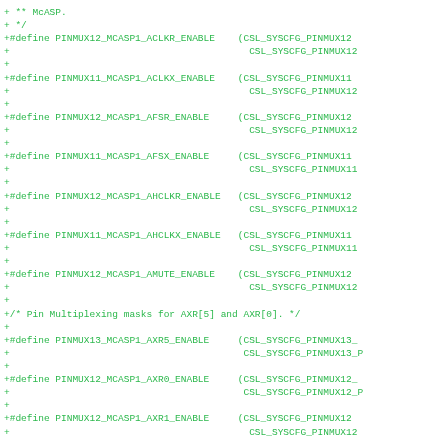Code diff showing C preprocessor #define macros for MCASP pin multiplexing configuration. Lines prefixed with '+' indicate additions. Defines include PINMUX12_MCASP1_ACLKR_ENABLE, PINMUX11_MCASP1_ACLKX_ENABLE, PINMUX12_MCASP1_AFSR_ENABLE, PINMUX11_MCASP1_AFSX_ENABLE, PINMUX12_MCASP1_AHCLKR_ENABLE, PINMUX11_MCASP1_AHCLKX_ENABLE, PINMUX12_MCASP1_AMUTE_ENABLE, and pin multiplexing masks for AXR[5] and AXR[0] including PINMUX13_MCASP1_AXR5_ENABLE, PINMUX12_MCASP1_AXR0_ENABLE, PINMUX12_MCASP1_AXR1_ENABLE.